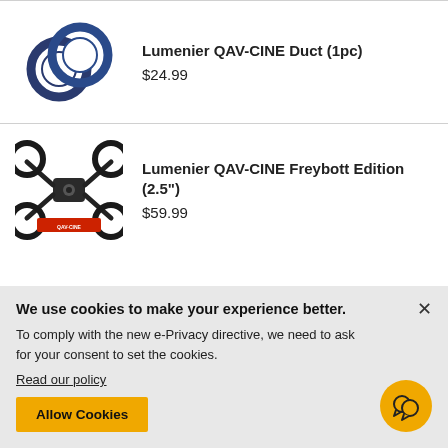[Figure (photo): Two blue circular drone duct rings, overlapping, viewed slightly from above]
Lumenier QAV-CINE Duct (1pc)
$24.99
[Figure (photo): Lumenier QAV-CINE Freybott Edition drone quadcopter, black frame with circular ducts, top-down angled view, with QAV-CINE branding label]
Lumenier QAV-CINE Freybott Edition (2.5")
$59.99
We use cookies to make your experience better. To comply with the new e-Privacy directive, we need to ask for your consent to set the cookies. Read our policy